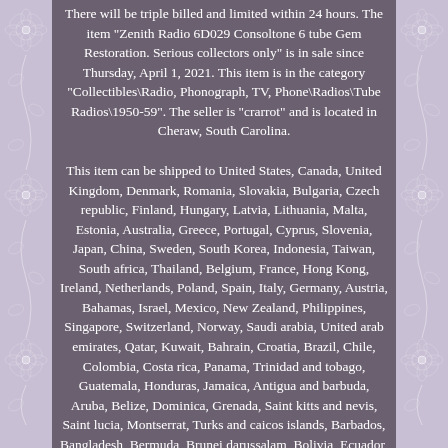There will be triple billed and limited within 24 hours. The item "Zenith Radio 6D029 Consoltone 6 tube Gem Restoration. Serious collectors only" is in sale since Thursday, April 1, 2021. This item is in the category "Collectibles\Radio, Phonograph, TV, Phone\Radios\Tube Radios\1950-59". The seller is "crarrot" and is located in Cheraw, South Carolina.
This item can be shipped to United States, Canada, United Kingdom, Denmark, Romania, Slovakia, Bulgaria, Czech republic, Finland, Hungary, Latvia, Lithuania, Malta, Estonia, Australia, Greece, Portugal, Cyprus, Slovenia, Japan, China, Sweden, South Korea, Indonesia, Taiwan, South africa, Thailand, Belgium, France, Hong Kong, Ireland, Netherlands, Poland, Spain, Italy, Germany, Austria, Bahamas, Israel, Mexico, New Zealand, Philippines, Singapore, Switzerland, Norway, Saudi arabia, United arab emirates, Qatar, Kuwait, Bahrain, Croatia, Brazil, Chile, Colombia, Costa rica, Panama, Trinidad and tobago, Guatemala, Honduras, Jamaica, Antigua and barbuda, Aruba, Belize, Dominica, Grenada, Saint kitts and nevis, Saint lucia, Montserrat, Turks and caicos islands, Barbados, Bangladesh, Bermuda, Brunei darussalam, Bolivia, Ecuador, Egypt, French guiana, Guernsey, Gibraltar, Guadeloupe, Iceland, Jersey,